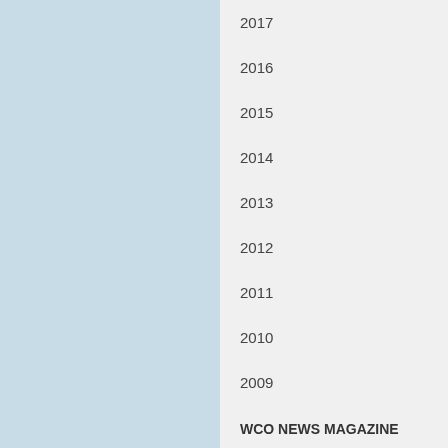2017
2016
2015
2014
2013
2012
2011
2010
2009
WCO NEWS MAGAZINE
INFORMATION FOR JOURNALISTS, BUSINESSES, INDIVIDUALS AND TRAVELLERS
More
Pho